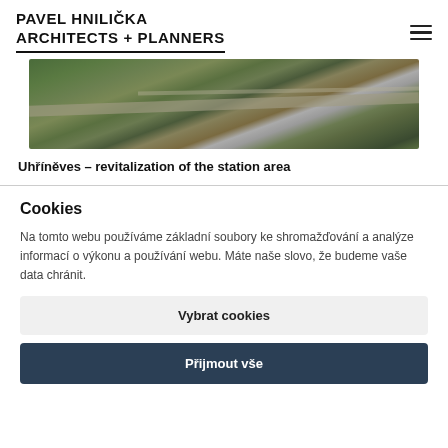PAVEL HNILIČKA ARCHITECTS + PLANNERS
[Figure (photo): Aerial photograph of Uhříněves station area showing roads, green areas, and buildings from above]
Uhříněves – revitalization of the station area
Cookies
Na tomto webu používáme základní soubory ke shromažďování a analýze informací o výkonu a používání webu. Máte naše slovo, že budeme vaše data chránit.
Vybrat cookies
Přijmout vše